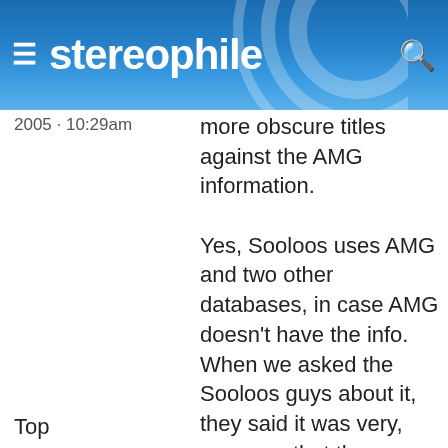stereophile
2005 · 10:29am
more obscure titles against the AMG information.

Yes, Sooloos uses AMG and two other databases, in case AMG doesn't have the info. When we asked the Sooloos guys about it, they said it was very, very rare that they came across an album that didn't exist in one of the three databases.
Top